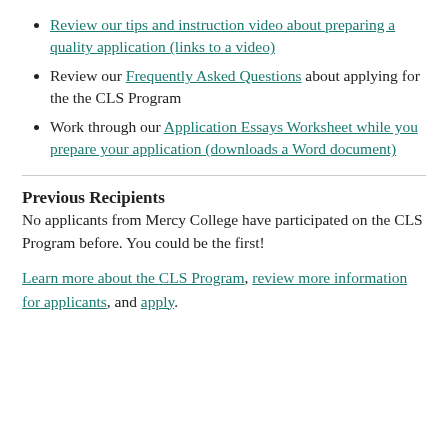Review our tips and instruction video about preparing a quality application (links to a video)
Review our Frequently Asked Questions about applying for the the CLS Program
Work through our Application Essays Worksheet while you prepare your application (downloads a Word document)
Previous Recipients
No applicants from Mercy College have participated on the CLS Program before. You could be the first!
Learn more about the CLS Program, review more information for applicants, and apply.